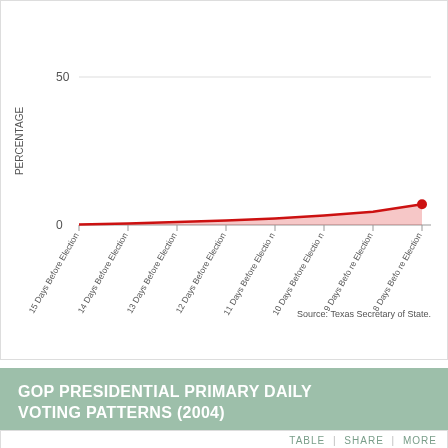[Figure (area-chart): GOP Presidential Primary Daily Voting Patterns (2004)]
GOP PRESIDENTIAL PRIMARY DAILY VOTING PATTERNS (2004)
TABLE | SHARE | MORE
GOP PRESIDENTIAL PRIMARY DAILY VOTING